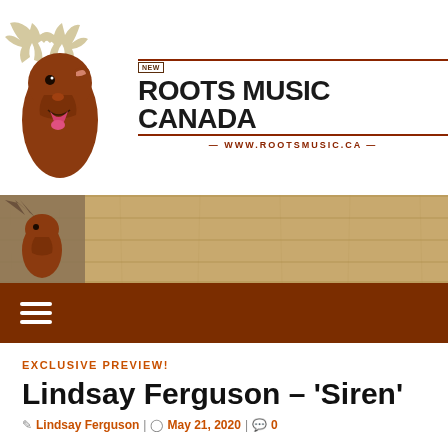[Figure (logo): Roots Music Canada logo with moose illustration and site name, www.rootsmusic.ca]
[Figure (infographic): Ad banner: Ads on Roots Music Canada are just $10/week during COVID-19, with small moose graphic on left, wood plank background]
[Figure (other): Dark brown navigation bar with hamburger menu icon (three white horizontal lines)]
EXCLUSIVE PREVIEW!
Lindsay Ferguson – 'Siren'
Lindsay Ferguson | May 21, 2020 | 0